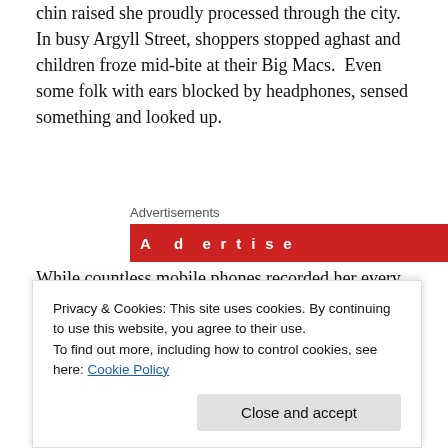chin raised she proudly processed through the city. In busy Argyll Street, shoppers stopped aghast and children froze mid-bite at their Big Macs.  Even some folk with ears blocked by headphones, sensed something and looked up.
Advertisements
[Figure (other): Red advertisement banner with white bold text on left and a dark logo/icon on the right reading 'DIS-' something]
While countless mobile phones recorded her every step, in time they were put away as people just gazed in wonder as STORM paraded trailing her own boom-box soundtrack...
Privacy & Cookies: This site uses cookies. By continuing to use this website, you agree to their use.
To find out more, including how to control cookies, see here: Cookie Policy
Close and accept